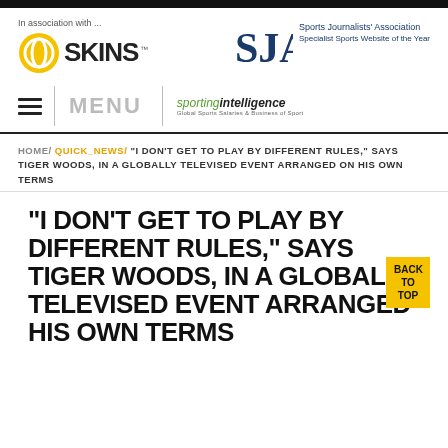In association with ... SKINS | SJA Sports Journalists' Association Specialist Sports Website of the Year
MENU | sportingintelligence
HOME/ QUICK_NEWS/ “I DON’T GET TO PLAY BY DIFFERENT RULES,” SAYS TIGER WOODS, IN A GLOBALLY TELEVISED EVENT ARRANGED ON HIS OWN TERMS
“I DON’T GET TO PLAY BY DIFFERENT RULES,” SAYS TIGER WOODS, IN A GLOBALLY TELEVISED EVENT ARRANGED HIS OWN TERMS